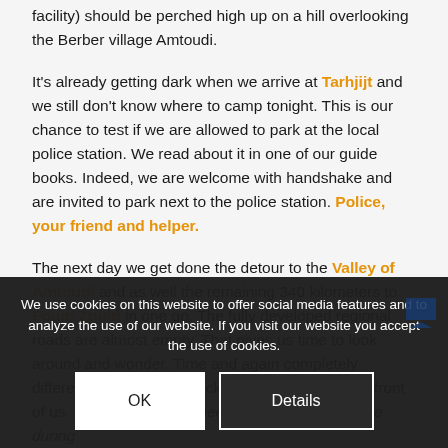facility) should be perched high up on a hill overlooking the Berber village Amtoudi.
It's already getting dark when we arrive at Tarhjijt and we still don't know where to camp tonight. This is our chance to test if we are allowed to park at the local police station. We read about it in one of our guide books. Indeed, we are welcome with handshake and are invited to park next to the police station. Police, your friend and helper.
The next day we get done the detour to the Valley of Amtoudi and as well the remaining 340 kilometers to Foum Zguid in one go. The fully developed regional roads are almost empty. That gives us time to look around and wonder. Time and again completely different landscapes of rocks and stones apear in front of us. Mother Earth had been extremly constructive during
We use cookies on this website to offer social media features and to analyze the use of our website. If you visit our website you accept the use of cookies.